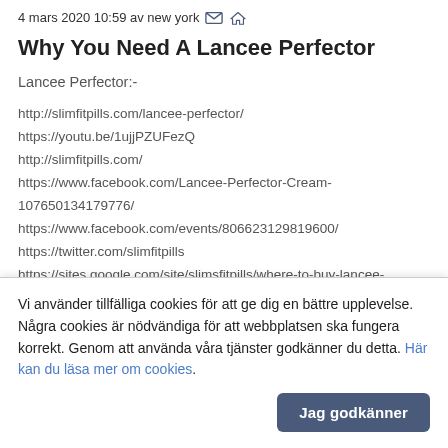4 mars 2020 10:59 av new york ✉ 🏠
Why You Need A Lancee Perfector
Lancee Perfector:-
http://slimfitpills.com/lancee-perfector/
https://youtu.be/1ujjPZUFezQ
http://slimfitpills.com/
https://www.facebook.com/Lancee-Perfector-Cream-107650134179776/
https://www.facebook.com/events/806623129819600/
https://twitter.com/slimfitpills
https://sites.google.com/site/slimsfitpills/where-to-buy-lancee-perfector-cream-reviews-2020-benefits-buy
https://sites.google.com/view/lancee-perfector-cream-/
https://slimfitpills.hatenadiary.com/
Vi använder tillfälliga cookies för att ge dig en bättre upplevelse. Några cookies är nödvändiga för att webbplatsen ska fungera korrekt. Genom att använda våra tjänster godkänner du detta. Här kan du läsa mer om cookies.